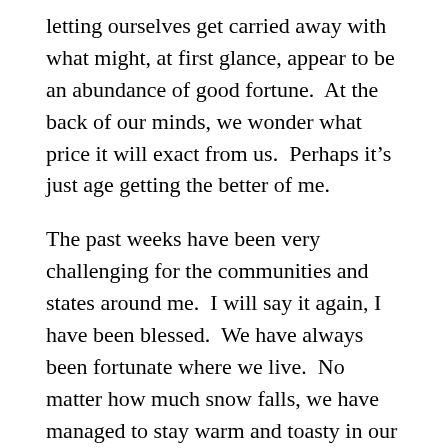letting ourselves get carried away with what might, at first glance, appear to be an abundance of good fortune.  At the back of our minds, we wonder what price it will exact from us.  Perhaps it's just age getting the better of me.
The past weeks have been very challenging for the communities and states around me.  I will say it again, I have been blessed.  We have always been fortunate where we live.  No matter how much snow falls, we have managed to stay warm and toasty in our home.
I am touched, though, at the outpouring of notes, text messages and e-mails from friends who asked about how we were doing.  I know the prayers for our safety